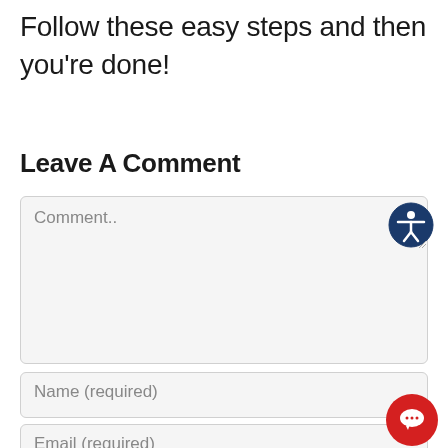Follow these easy steps and then you're done!
Leave A Comment
[Figure (screenshot): Comment text area input field with placeholder text 'Comment..' and an accessibility icon (person in circle) in the top right corner of the field. A resize handle is visible at the bottom right.]
[Figure (screenshot): Name (required) input field, a text box with placeholder text.]
[Figure (screenshot): Email (required) input field, a text box with placeholder text. A red circular chat button with speech bubble icon is overlaid in the bottom right corner.]